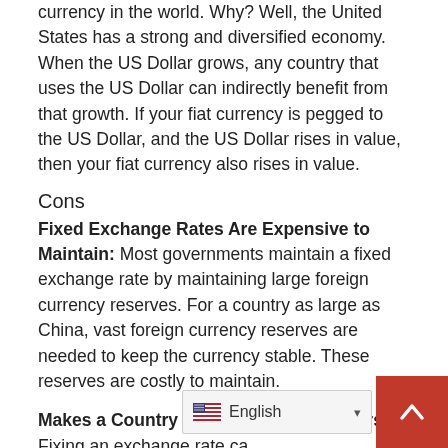currency in the world. Why? Well, the United States has a strong and diversified economy. When the US Dollar grows, any country that uses the US Dollar can indirectly benefit from that growth. If your fiat currency is pegged to the US Dollar, and the US Dollar rises in value, then your fiat currency also rises in value.
Cons
Fixed Exchange Rates Are Expensive to Maintain: Most governments maintain a fixed exchange rate by maintaining large foreign currency reserves. For a country as large as China, vast foreign currency reserves are needed to keep the currency stable. These reserves are costly to maintain.
Makes a Country a Target for Speculators: Fixing an exchange rate ca…